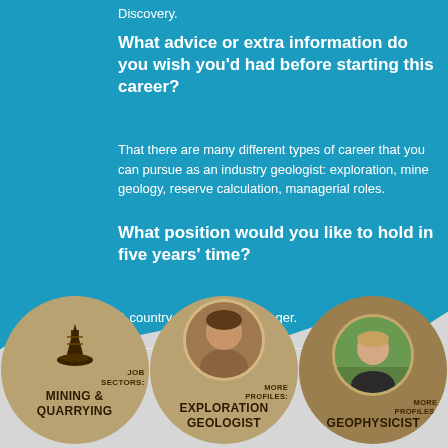Discovery.
What advice or extra information do you wish you'd had before starting this career?
That there are many different types of career that you can pursue as an industry geologist: exploration, mine geology, reserve calculation, managerial roles.
What position would you like to hold in five years' time?
A country exploration manager.
[Figure (infographic): Three circular icons at the bottom: 1) Mining tower icon with text 'JOB SECTORS: MINING & QUARRYING', 2) Photo of a woman with text 'MORE PROFILES: EXPLORATION GEOLOGIST', 3) Photo of a woman outdoors with text 'MORE PROFILES: GEOPHYSICIST']